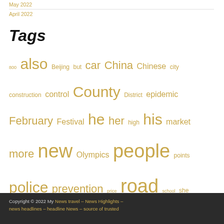May 2022
April 2022
Tags
800 also Beijing but car China Chinese city construction control County District epidemic February Festival he her high his market more new Olympics people points police prevention price road school she snow Spring students team their traffic very was will wind Winter work year yuan
Copyright © 2022 My News travel – News Highlights – news headlines – headline News – source of trusted